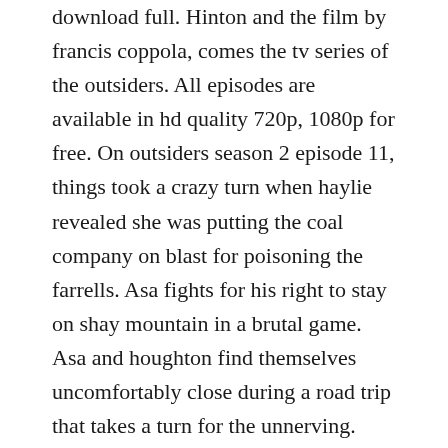download full. Hinton and the film by francis coppola, comes the tv series of the outsiders. All episodes are available in hd quality 720p, 1080p for free. On outsiders season 2 episode 11, things took a crazy turn when haylie revealed she was putting the coal company on blast for poisoning the farrells. Asa fights for his right to stay on shay mountain in a brutal game. Asa and houghton find themselves uncomfortably close during a road trip that takes a turn for the unnerving. Havent watched the full first season but not to bad but its nothing like the son of anarchy like the